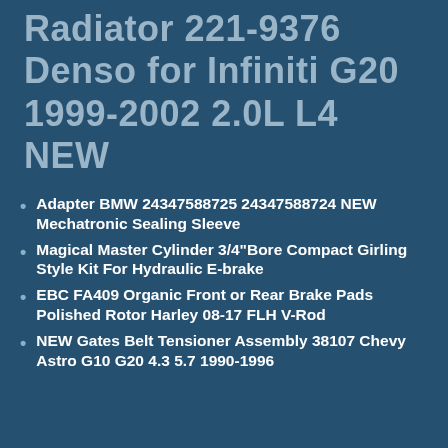Radiator 221-9376 Denso for Infiniti G20 1999-2002 2.0L L4 NEW
Adapter BMW 24347588725 24347588724 NEW Mechatronic Sealing Sleeve
Magical Master Cylinder 3/4"Bore Compact Girling Style Kit For Hydraulic E-brake
EBC FA409 Organic Front or Rear Brake Pads Polished Rotor Harley 08-17 FLH V-Rod
NEW Gates Belt Tensioner Assembly 38107 Chevy Astro G10 G20 4.3 5.7 1990-1996